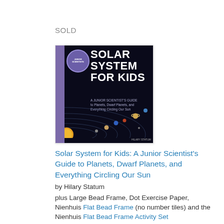SOLD
[Figure (photo): Book cover of 'Solar System for Kids: A Junior Scientist's Guide to Planets, Dwarf Planets, and Everything Circling Our Sun' by Hilary Statum. Dark background with planets, orbital lines, and a purple badge.]
Solar System for Kids: A Junior Scientist's Guide to Planets, Dwarf Planets, and Everything Circling Our Sun
by Hilary Statum
plus Large Bead Frame, Dot Exercise Paper, Nienhuis Flat Bead Frame (no number tiles) and the Nienhuis Flat Bead Frame Activity Set